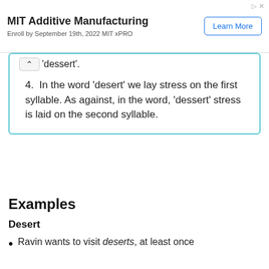[Figure (other): MIT Additive Manufacturing advertisement banner with 'Learn More' button. Text: MIT Additive Manufacturing / Enroll by September 19th, 2022 MIT xPRO]
'dessert'.
4. In the word 'desert' we lay stress on the first syllable. As against, in the word, 'dessert' stress is laid on the second syllable.
Examples
Desert
Ravin wants to visit deserts, at least once